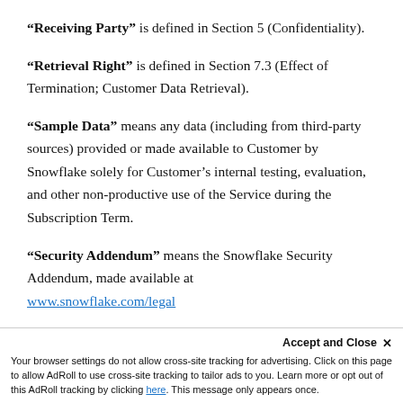"Receiving Party" is defined in Section 5 (Confidentiality).
"Retrieval Right" is defined in Section 7.3 (Effect of Termination; Customer Data Retrieval).
"Sample Data" means any data (including from third-party sources) provided or made available to Customer by Snowflake solely for Customer’s internal testing, evaluation, and other non-productive use of the Service during the Subscription Term.
"Security Addendum" means the Snowflake Security Addendum, made available at www.snowflake.com/legal
Accept and Close ×
Your browser settings do not allow cross-site tracking for advertising. Click on this page to allow AdRoll to use cross-site tracking to tailor ads to you. Learn more or opt out of this AdRoll tracking by clicking here. This message only appears once.